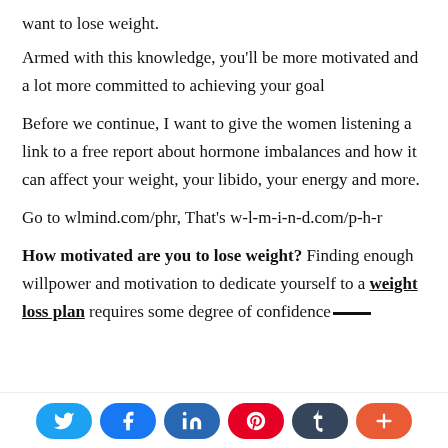want to lose weight.
Armed with this knowledge, you'll be more motivated and a lot more committed to achieving your goal
Before we continue, I want to give the women listening a link to a free report about hormone imbalances and how it can affect your weight, your libido, your energy and more.
Go to wlmind.com/phr, That's w-l-m-i-n-d.com/p-h-r
How motivated are you to lose weight? Finding enough willpower and motivation to dedicate yourself to a weight loss plan requires some degree of confidence